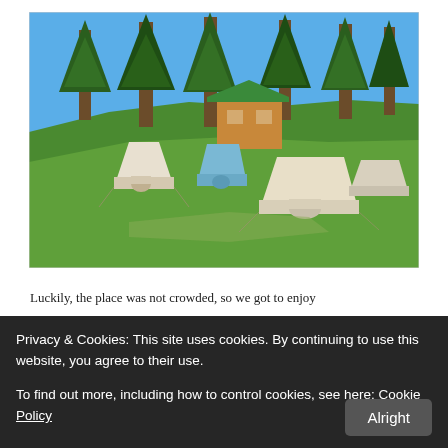[Figure (photo): Outdoor camping site on a green hillside with several large canvas tents in white/beige and blue, wooden cabin structures with green roof in background, tall conifer trees against a clear blue sky.]
Luckily, the place was not crowded, so we got to enjoy
Privacy & Cookies: This site uses cookies. By continuing to use this website, you agree to their use.
To find out more, including how to control cookies, see here: Cookie Policy
Alright